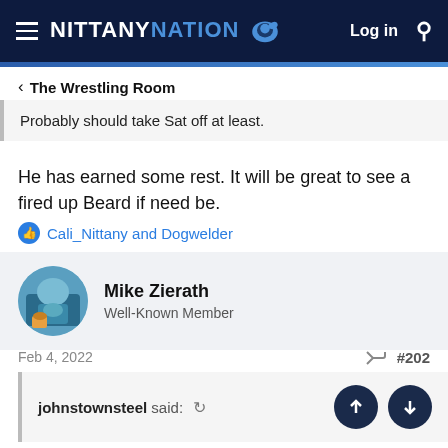NITTANY NATION — Log in
< The Wrestling Room
Probably should take Sat off at least.
He has earned some rest. It will be great to see a fired up Beard if need be.
Cali_Nittany and Dogwelder
Mike Zierath
Well-Known Member
Feb 4, 2022  #202
johnstownsteel said: